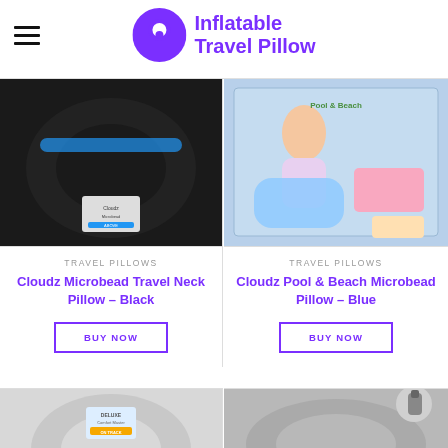Inflatable Travel Pillow
[Figure (photo): Cloudz Microbead Travel Neck Pillow – Black, shown from above, black U-shaped neck pillow with blue accent strip and product tag]
TRAVEL PILLOWS
Cloudz Microbead Travel Neck Pillow – Black
BUY NOW
[Figure (photo): Cloudz Pool & Beach Microbead Pillow – Blue, shown in product packaging with child using pillow]
TRAVEL PILLOWS
Cloudz Pool & Beach Microbead Pillow – Blue
BUY NOW
[Figure (photo): Gray U-shaped travel neck pillow with product hangtag showing deluxe comfort master branding]
[Figure (photo): Gray inflatable travel pillow with inflation nozzle visible, shown partially]